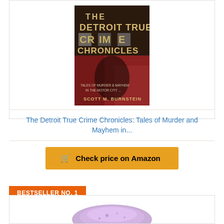[Figure (photo): Book cover of 'The Detroit True Crime Chronicles: Tales of Murder and Mayhem in the Motor City' by Scott M. Burnstein]
The Detroit True Crime Chronicles: Tales of Murder and Mayhem in...
Check price on Amazon
BESTSELLER NO. 1
[Figure (photo): Partial view of another book cover, partially visible at bottom of page]